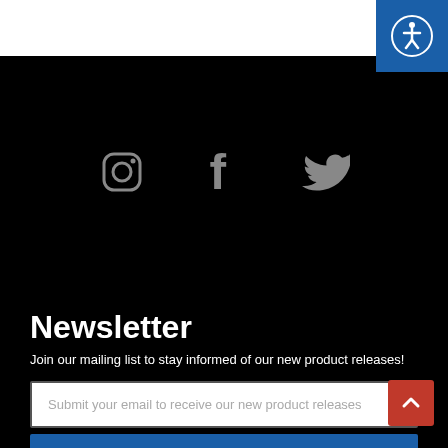[Figure (logo): Accessibility icon button (blue square with wheelchair person icon, top right corner)]
[Figure (infographic): Three social media icons: Instagram (camera outline), Facebook (f), Twitter (bird), arranged horizontally on black background]
Newsletter
Join our mailing list to stay informed of our new product releases!
Submit your email to receive our new product releases
Sign Up
By submitting this form, you are consenting to receive marketing emails from: Odyssey Innovative Designs, 809 W. Santa Anita St, San Gabriel, CA, 91776, US, https://www.odysseygear.com. You can revoke your consent to receive emails at any time by using the SafeUnsubscribe® link, found at the bottom of every email. Emails are serviced by Constant Contact.